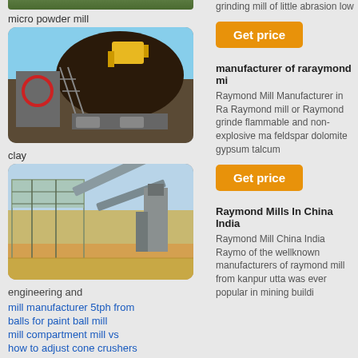[Figure (photo): Industrial grinding/milling equipment facility - partial view at top]
micro powder mill
[Figure (photo): Industrial milling equipment with large yellow machinery and dark material pile against blue sky]
clay
[Figure (photo): Industrial plant with conveyor belts and steel frame structures against blue sky]
engineering and
mill manufacturer 5tph from
balls for paint ball mill
mill compartment mill vs
how to adjust cone crushers
grinding mill of little abrasion low
[Figure (other): Get price button - orange button]
manufacturer of raraymond mi
Raymond Mill Manufacturer in Ra Raymond mill or Raymond grinde flammable and non-explosive ma feldspar dolomite gypsum talcum
[Figure (other): Get price button - orange button]
Raymond Mills In China India
Raymond Mill China India Raymo of the wellknown manufacturers of raymond mill from kanpur utta was ever popular in mining buildi